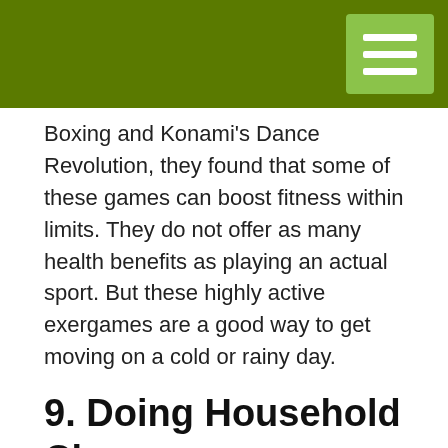Boxing and Konami’s Dance Revolution, they found that some of these games can boost fitness within limits. They do not offer as many health benefits as playing an actual sport. But these highly active exergames are a good way to get moving on a cold or rainy day.
9. Doing Household Chores
Believe it or not household chores are itself different forms of exercises and workouts. Sitting idle doing nothing in winters is sedentary time you can avoid by indulging yourself in your own household job and do some work outs.  Completing your weekly chores such as laundry and vacuuming accumulate into active minutes. These tasks may not be enjoyable at times